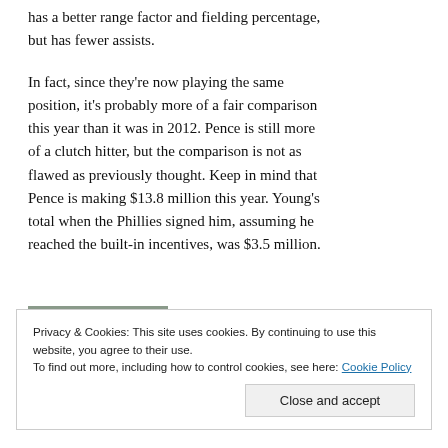has a better range factor and fielding percentage, but has fewer assists.
In fact, since they're now playing the same position, it's probably more of a fair comparison this year than it was in 2012. Pence is still more of a clutch hitter, but the comparison is not as flawed as previously thought. Keep in mind that Pence is making $13.8 million this year. Young's total when the Phillies signed him, assuming he reached the built-in incentives, was $3.5 million.
[Figure (photo): Partially visible image at the bottom of the article content area, alongside a blue 'Get the app' style button]
Privacy & Cookies: This site uses cookies. By continuing to use this website, you agree to their use.
To find out more, including how to control cookies, see here: Cookie Policy
Close and accept